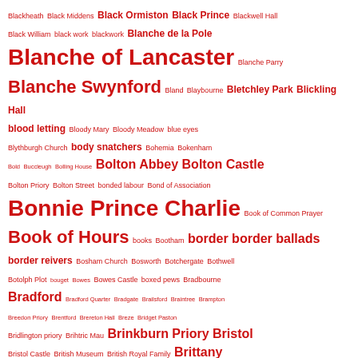Blackheath Black Middens Black Ormiston Black Prince Blackwell Hall Black William black work blackwork Blanche de la Pole Blanche of Lancaster Blanche Parry Blanche Swynford Bland Blaybourne Bletchley Park Blickling Hall blood letting Bloody Mary Bloody Meadow blue eyes Blythburgh Church body snatchers Bohemia Bokenham Bold Buccleugh Bolling House Bolton Abbey Bolton Castle Bolton Priory Bolton Street bonded labour Bond of Association Bonnie Prince Charlie Book of Common Prayer Book of Hours books Bootham border border ballads border reivers Bosham Church Bosworth Botchergate Bothwell Botolph Plot bouget Bowes Bowes Castle boxed pews Bradbourne Bradford Bradford Quarter Bradgate Brailsford Braintree Brampton Breedon Priory Brentford Brereton Hall Breze Bridget Paston Bridlington priory Brihtric Mau Brinkburn Priory Bristol Bristol Castle British Museum British Royal Family Brittany Brockenhurst Brotherton Brougham Castle Brough Castle Bruges Brussels Brythnoth Buckingham Rebellion Buckland Abbey Bures